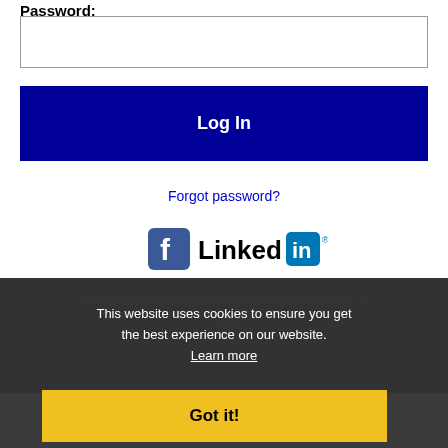Password:
[Figure (screenshot): Password text input field (empty, white box with border)]
Log In
Forgot password?
[Figure (logo): Facebook logo icon (blue square with white f)]
[Figure (logo): LinkedIn logo (Linked text with blue 'in' box and registered symbol)]
Get the latest Maine jobs by following @recnetME on Twitter!
Portland RSS job feeds
This website uses cookies to ensure you get the best experience on our website. Learn more
Got it!